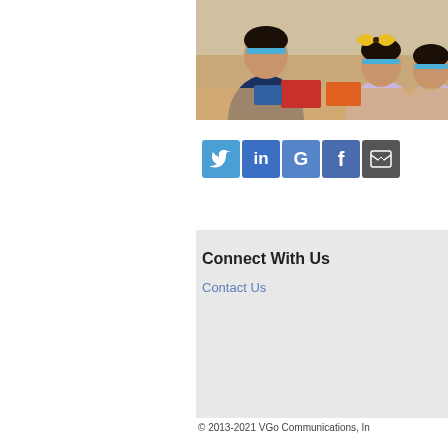[Figure (photo): Children sitting at a table doing an activity, wearing blue headbands, with colorful cards and materials on the table]
[Figure (infographic): Social media icon buttons: Twitter (blue bird), LinkedIn (in), Google (G), Facebook (f), Email/envelope icon]
Connect With Us
Contact Us
© 2013-2021 VGo Communications, In